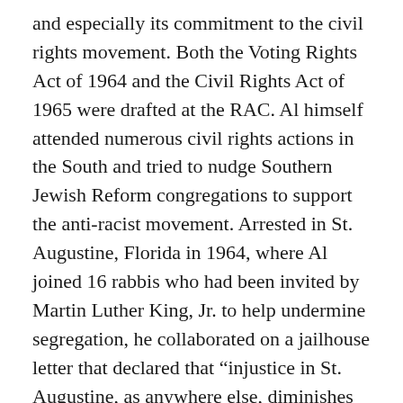and especially its commitment to the civil rights movement. Both the Voting Rights Act of 1964 and the Civil Rights Act of 1965 were drafted at the RAC. Al himself attended numerous civil rights actions in the South and tried to nudge Southern Jewish Reform congregations to support the anti-racist movement. Arrested in St. Augustine, Florida in 1964, where Al joined 16 rabbis who had been invited by Martin Luther King, Jr. to help undermine segregation, he collaborated on a jailhouse letter that declared that “injustice in St. Augustine, as anywhere else, diminishes the humanity of each of us. We came as Jews who remember the millions of faceless people who stood quietly, watching the smoke rise from Hitler’s crematoria . . .” Later in the 1960s, Al was among